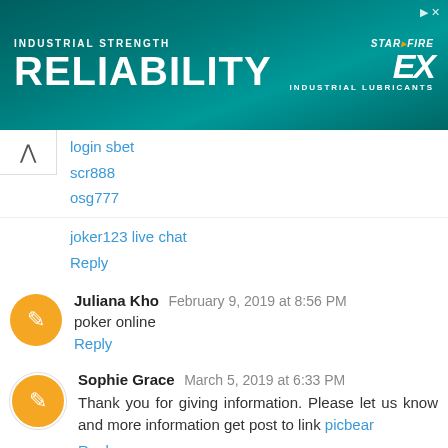[Figure (screenshot): Advertisement banner: Industrial Strength RELIABILITY - Star Fire EX Industrial Lubricants, teal/dark background]
login sbet
scr888
osg777
joker123 live chat
Reply
Juliana Kho  February 9, 2019 at 8:56 PM
poker online
Reply
Sophie Grace  March 5, 2019 at 6:33 PM
Thank you for giving information. Please let us know and more information get post to link picbear
Reply